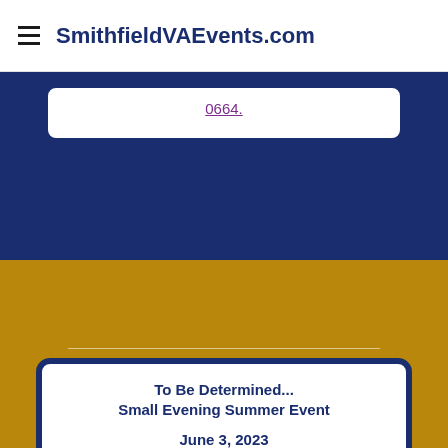SmithfieldVAEvents.com
0664.
To Be Determined...
Small Evening Summer Event

June 3, 2023

Will it be tequila?